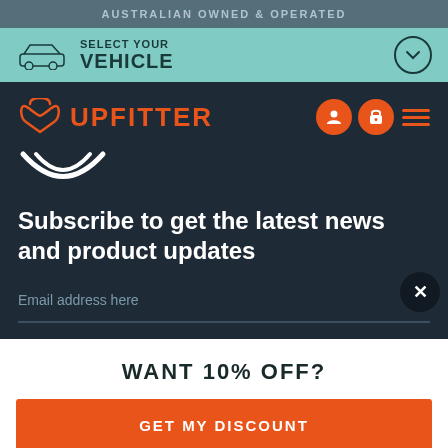AUSTRALIAN OWNED & OPERATED
SELECT YOUR VEHICLE
[Figure (logo): Upfitter logo with orange stylized U icon and UPFITTER text]
Subscribe to get the latest news and product updates
Email address here
WANT 10% OFF?
GET MY DISCOUNT